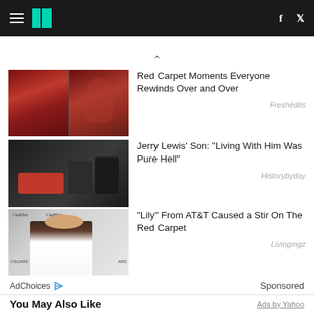HuffPost navigation bar with hamburger menu, logo, Facebook and Twitter icons
[Figure (screenshot): Chevron/caret up symbol]
[Figure (photo): Two red carpet photos of woman in red dress]
Red Carpet Moments Everyone Rewinds Over and Over
Freshédits
[Figure (photo): Jerry Lewis with family members at event]
Jerry Lewis' Son: "Living With Him Was Pure Hell"
Historybyday
[Figure (photo): Woman in white dress at Cadillac Oscars event]
"Lily" From AT&T Caused a Stir On The Red Carpet
Livingmgz
AdChoices   Sponsored
You May Also Like
Ads by Yahoo